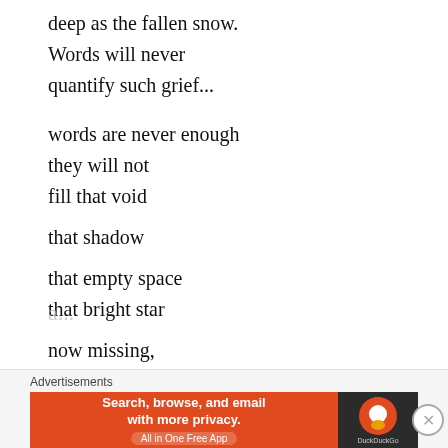deep as the fallen snow.
Words will never
quantify such grief...

words are never enough
they will not
fill that void

that shadow

that empty space
that bright star

now missing,
extinguished way

too soon.
a...
[Figure (other): Advertisement banner: DuckDuckGo ad reading 'Search, browse, and email with more privacy. All in One Free App' on orange background with DuckDuckGo logo on dark background]